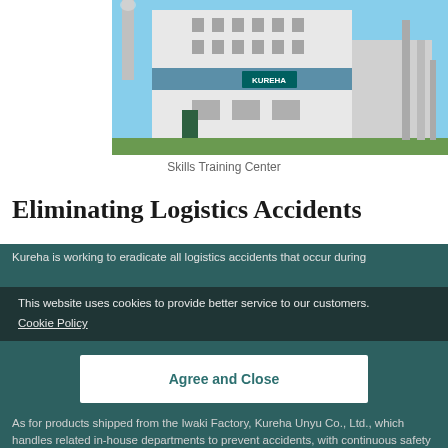[Figure (photo): Exterior photo of the Kureha Skills Training Center building, a white and blue multi-story industrial building with the Kureha logo on it, against a blue sky.]
Skills Training Center
Eliminating Logistics Accidents
Kureha is working to eradicate all logistics accidents that occur during
This website uses cookies to provide better service to our customers.
Cookie Policy
As for products shipped from the Iwaki Factory, Kureha Unyu Co., Ltd., which handles related in-house departments to prevent accidents, with continuous safety training of